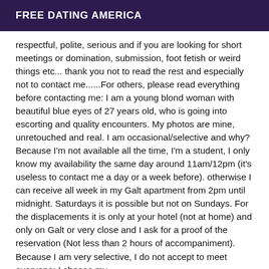FREE DATING AMERICA
respectful, polite, serious and if you are looking for short meetings or domination, submission, foot fetish or weird things etc... thank you not to read the rest and especially not to contact me......For others, please read everything before contacting me: I am a young blond woman with beautiful blue eyes of 27 years old, who is going into escorting and quality encounters. My photos are mine, unretouched and real. I am occasional/selective and why? Because I'm not available all the time, I'm a student, I only know my availability the same day around 11am/12pm (it's useless to contact me a day or a week before). otherwise I can receive all week in my Galt apartment from 2pm until midnight. Saturdays it is possible but not on Sundays. For the displacements it is only at your hotel (not at home) and only on Galt or very close and I ask for a proof of the reservation (Not less than 2 hours of accompaniment). Because I am very selective, I do not accept to meet everyone: I choose my